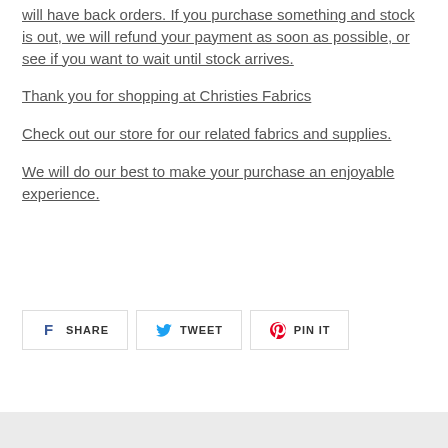will have back orders. If you purchase something and stock is out, we will refund your payment as soon as possible, or see if you want to wait until stock arrives.
Thank you for shopping at Christies Fabrics
Check out our store for our related fabrics and supplies.
We will do our best to make your purchase an enjoyable experience.
[Figure (infographic): Social sharing buttons: SHARE (Facebook), TWEET (Twitter), PIN IT (Pinterest)]